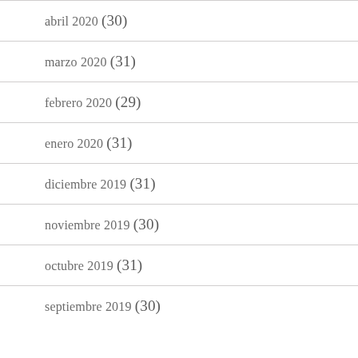abril 2020 (30)
marzo 2020 (31)
febrero 2020 (29)
enero 2020 (31)
diciembre 2019 (31)
noviembre 2019 (30)
octubre 2019 (31)
septiembre 2019 (30)